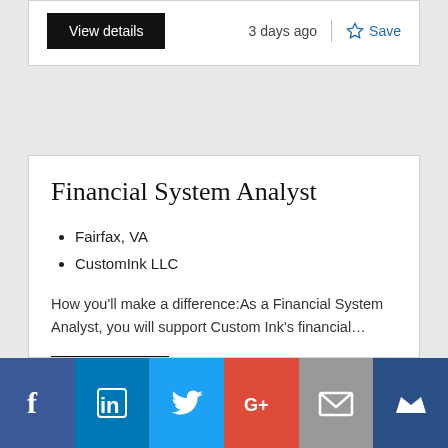View details   3 days ago   Save
Financial System Analyst
Fairfax, VA
CustomInk LLC
How you'll make a difference:As a Financial System Analyst, you will support Custom Ink's financial…
View details   3 days ago   Save
Finance & Risk Data Operations -
[Figure (infographic): Social sharing bar with icons: Facebook, LinkedIn, Twitter, Google+, Email, and a crown/bookmark icon]